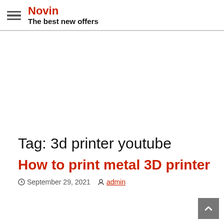Novin — The best new offers
Tag: 3d printer youtube
How to print metal 3D printer
September 29, 2021  admin